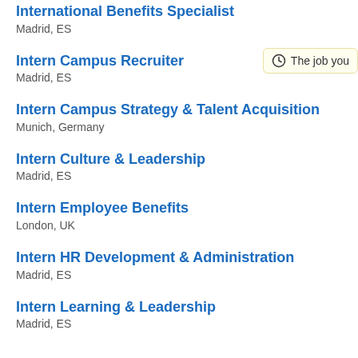International Benefits Specialist
Madrid, ES
Intern Campus Recruiter
Madrid, ES
Intern Campus Strategy & Talent Acquisition
Munich, Germany
Intern Culture & Leadership
Madrid, ES
Intern Employee Benefits
London, UK
Intern HR Development & Administration
Madrid, ES
Intern Learning & Leadership
Madrid, ES